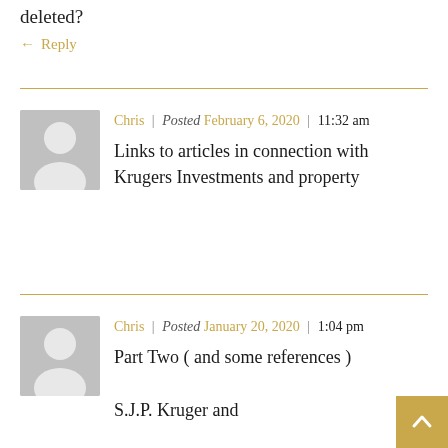deleted?
↵ Reply
Chris | Posted February 6, 2020 | 11:32 am
Links to articles in connection with Krugers Investments and property
Chris | Posted January 20, 2020 | 1:04 pm
Part Two ( and some references )
S.J.P. Kruger and